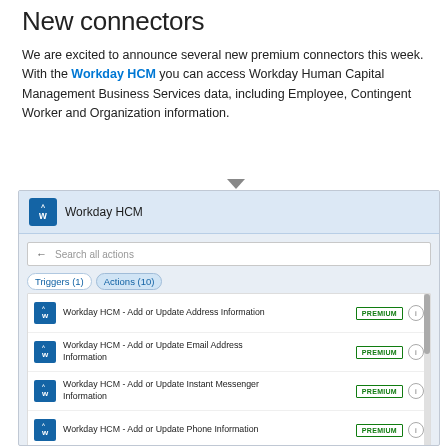New connectors
We are excited to announce several new premium connectors this week. With the Workday HCM you can access Workday Human Capital Management Business Services data, including Employee, Contingent Worker and Organization information.
[Figure (screenshot): Screenshot of Workday HCM connector interface in Microsoft Power Automate, showing the connector header, search bar, Triggers/Actions tabs, and a list of premium actions: Add or Update Address Information, Add or Update Email Address Information, Add or Update Instant Messenger Information, Add or Update Phone Information, Add or Update Web Address Information, Get Employee Employment Info. Each item has a green PREMIUM badge and an info icon.]